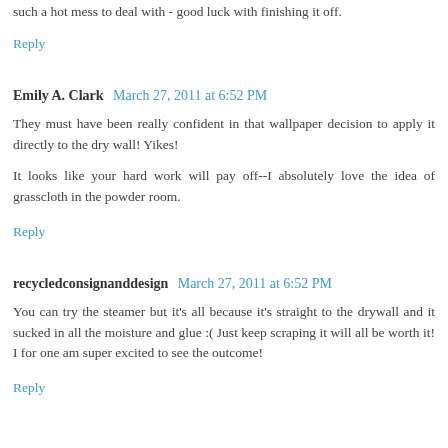such a hot mess to deal with - good luck with finishing it off.
Reply
Emily A. Clark  March 27, 2011 at 6:52 PM
They must have been really confident in that wallpaper decision to apply it directly to the dry wall! Yikes!
It looks like your hard work will pay off--I absolutely love the idea of grasscloth in the powder room.
Reply
recycledconsignanddesign  March 27, 2011 at 6:52 PM
You can try the steamer but it's all because it's straight to the drywall and it sucked in all the moisture and glue :( Just keep scraping it will all be worth it! I for one am super excited to see the outcome!
Reply